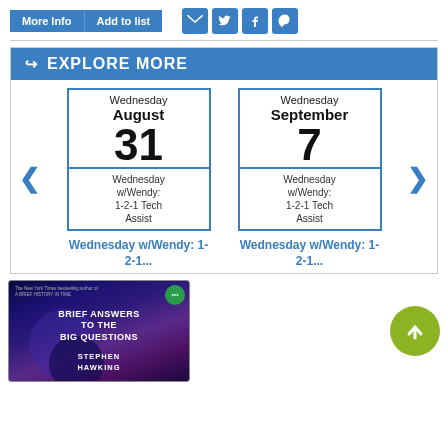[Figure (screenshot): Top bar with 'More Info' and 'Add to list' blue buttons, and social share icons for email, Twitter, Facebook, Pinterest]
EXPLORE MORE
[Figure (infographic): Carousel with two event calendar cards. Left: Wednesday August 31, Wednesday w/Wendy: 1-2-1 Tech Assist. Right: Wednesday September 7, Wednesday w/Wendy: 1-2-1 Tech Assist. Navigation arrows on each side.]
Wednesday w/Wendy: 1-2-1...
Wednesday w/Wendy: 1-2-1...
[Figure (photo): Book cover: 'Brief Answers to the Big Questions' by Stephen Hawking, dark blue/purple background with circular design]
[Figure (illustration): Olive/green circle with upward arrow scroll-to-top button]